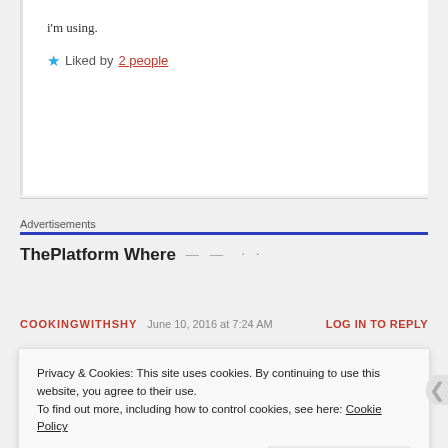i'm using.
★ Liked by 2 people
Advertisements
ThePlatform Where — — · ·
COOKINGWITHSHY   June 10, 2016 at 7:24 AM   LOG IN TO REPLY
Privacy & Cookies: This site uses cookies. By continuing to use this website, you agree to their use.
To find out more, including how to control cookies, see here: Cookie Policy
Close and accept